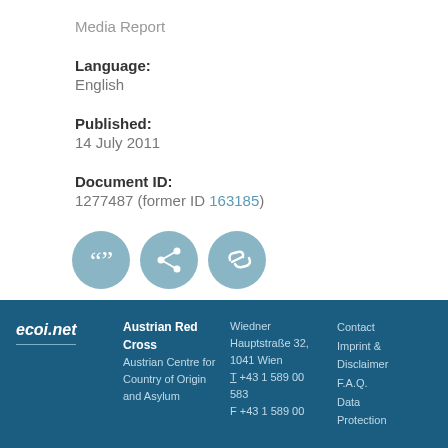Media Report
Language:
English
Published:
14 July 2011
Document ID:
1277487 (former ID 163185)
[Figure (illustration): Three circular icon buttons: a quote/citation icon, a share icon, and a link icon, all in muted blue-grey color.]
ecoi.net | Austrian Red Cross | Austrian Centre for Country of Origin and Asylum | Wiedner Hauptstraße 32, 1041 Wien | T +43 1 589 00 583 | F +43 1 589 00 | Contact | Imprint & Disclaimer | F.A.Q. | Data Protection